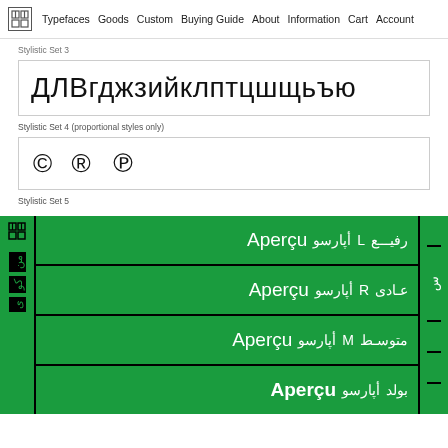Typefaces | Goods | Custom | Buying Guide | About | Information | Cart | Account
Stylistic Set 3
[Figure (illustration): Large Cyrillic character display in a bordered box: ДЛВгджзийклптцшщьъю]
Stylistic Set 4 (proportional styles only)
[Figure (illustration): Symbols display in a bordered box: © ® ℗]
Stylistic Set 5
[Figure (illustration): Green panel on black background showing Apercu font family rows: Apercu أپارسو L رفیع, Apercu أپارسو R عادی, Apercu أپارسو M متوسط, and a partial row below]